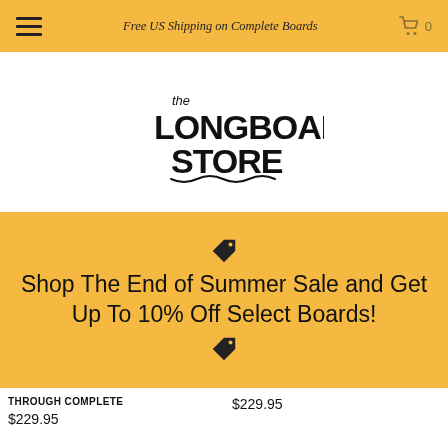Free US Shipping on Complete Boards
[Figure (logo): The Longboard Store logo — handwritten-style text reading 'the LONGBOARD STORE' with a wavy underline]
Shop The End of Summer Sale and Get Up To 10% Off Select Boards!
THROUGH COMPLETE $229.95
$229.95